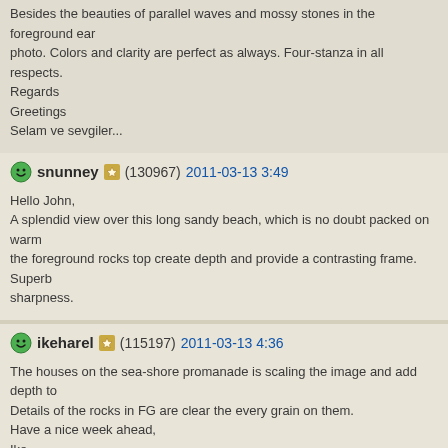Besides the beauties of parallel waves and mossy stones in the foreground ear photo. Colors and clarity are perfect as always. Four-stanza in all respects.
Regards
Greetings
Selam ve sevgiler...
snunney (130967) 2011-03-13 3:49
Hello John,
A splendid view over this long sandy beach, which is no doubt packed on warm the foreground rocks top create depth and provide a contrasting frame. Superb sharpness.
ikeharel (115197) 2011-03-13 4:36
The houses on the sea-shore promanade is scaling the image and add depth to Details of the rocks in FG are clear the every grain on them.
Have a nice week ahead,
Ike
josepmarin (59385) 2011-03-13 4:41
Hi John,
a good management of the field depth in this composition, we can see with gre